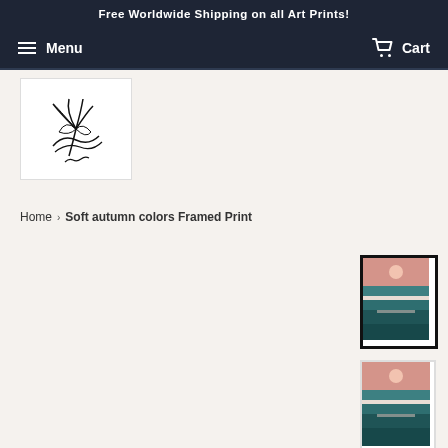Free Worldwide Shipping on all Art Prints!
Menu  Cart
[Figure (logo): Line art logo of a palm tree with a wave and a signature, on white background]
Home › Soft autumn colors Framed Print
[Figure (photo): Framed art print showing a minimalist ocean sunset scene with teal water layers and a pink sun, in a black frame]
[Figure (photo): Unframed art print showing a minimalist ocean sunset scene with teal water layers and a pink sun, with white border]